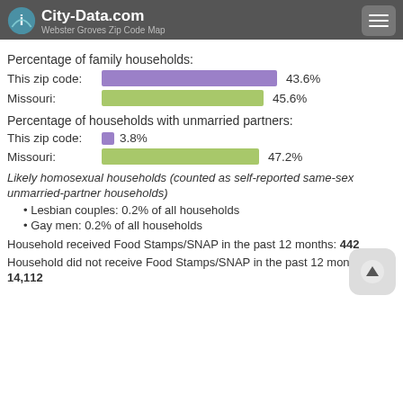City-Data.com / Webster Groves Zip Code Map
Percentage of family households:
[Figure (bar-chart): Percentage of family households]
Percentage of households with unmarried partners:
[Figure (bar-chart): Percentage of households with unmarried partners]
Likely homosexual households (counted as self-reported same-sex unmarried-partner households)
Lesbian couples: 0.2% of all households
Gay men: 0.2% of all households
Household received Food Stamps/SNAP in the past 12 months: 442
Household did not receive Food Stamps/SNAP in the past 12 months: 14,112